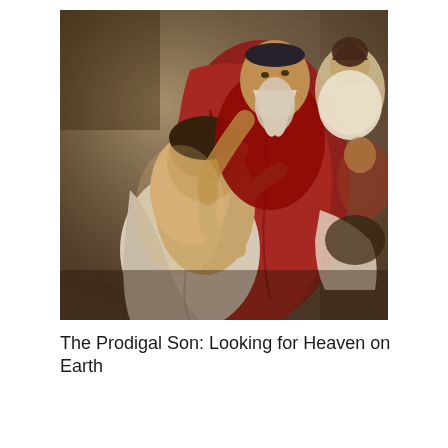[Figure (illustration): Baroque painting depicting the Return of the Prodigal Son. An elderly bearded man in a dark cap and deep red/crimson robe embraces a younger man who is bare-shouldered and dressed in white cloth. The father figure wraps both arms around the son who bows his head. In the background to the upper right, a woman and other figures look on. The scene is dramatically lit in a warm, golden-brown palette typical of 17th century Baroque style, likely by Bartolomé Esteban Murillo.]
The Prodigal Son: Looking for Heaven on Earth